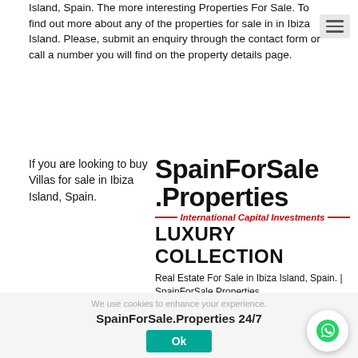Island, Spain. The more interesting Properties For Sale. To find out more about any of the properties for sale in in Ibiza Island. Please, submit an enquiry through the contact form or call a number you will find on the property details page.
If you are looking to buy Villas for sale in Ibiza Island, Spain.
[Figure (logo): SpainForSale.Properties logo with International Capital Investments Luxury Collection tagline]
Real Estate For Sale in Ibiza Island, Spain. | SpainForSale.Properties.
Please Contact any of SpainForSale.Properties professional Real Estate Agents and we will be delighted to assist you further.
We use cookies to enhance your experience. SpainForSale.Properties 24/7
Ok